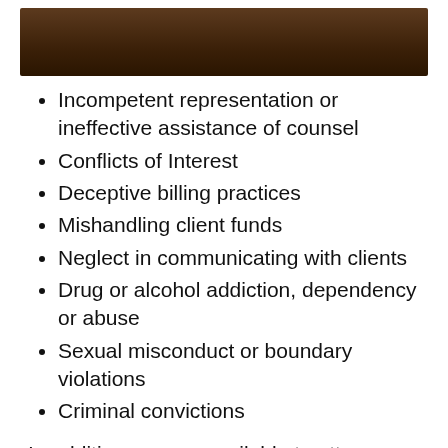[Figure (other): Dark brown header image/banner at the top of the page]
Incompetent representation or ineffective assistance of counsel
Conflicts of Interest
Deceptive billing practices
Mishandling client funds
Neglect in communicating with clients
Drug or alcohol addiction, dependency or abuse
Sexual misconduct or boundary violations
Criminal convictions
In addition, we are available to attorneys with licensing and application issues. Some examples of licensing and application issues include:
Assisting attorneys obtain or renew a law license despite a criminal conviction, alcohol or drug abuse, addiction or dependency issue or prior board